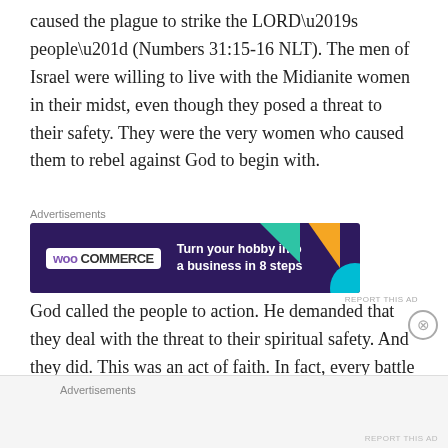caused the plague to strike the LORD’s people” (Numbers 31:15-16 NLT). The men of Israel were willing to live with the Midianite women in their midst, even though they posed a threat to their safety. They were the very women who caused them to rebel against God to begin with.
[Figure (other): WooCommerce advertisement banner: dark purple background with teal, orange, and blue decorative shapes. WooCommerce logo on left, text reads 'Turn your hobby into a business in 8 steps' on right.]
God called the people to action. He demanded that they deal with the threat to their spiritual safety. And they did. This was an act of faith. In fact, every battle the